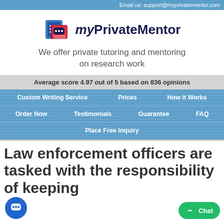Email us: support@myprivatementor.com
[Figure (logo): myPrivateMentor logo with book and chat bubble icon]
We offer private tutoring and mentoring on research work
Average score 4.97 out of 5 based on 836 opinions
Custom Writing Service
Prices
How it Works
Order Now
Testimonials
Guarantee
FAQ
Place Free Inquiry
Law enforcement officers are tasked with the responsibility of keeping